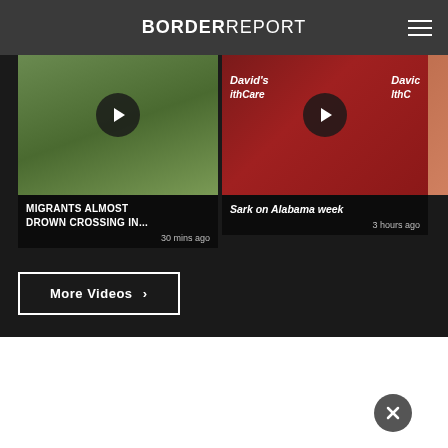BORDER REPORT
[Figure (screenshot): Video thumbnail 1: outdoor migrants scene with play button overlay. Title: MIGRANTS ALMOST DROWN CROSSING IN... 30 mins ago]
[Figure (screenshot): Video thumbnail 2: medical/healthcare backdrop with play button overlay. Title: Sark on Alabama week, 3 hours ago]
[Figure (screenshot): Partial video thumbnail 3: woman, partially cropped. Title: Septe... foreca...]
More Videos ›
[Figure (other): Close (X) button circle at bottom right of white area]